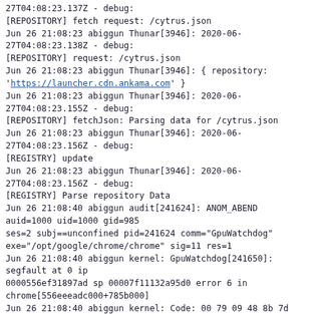27T04:08:23.137Z - debug:
[REPOSITORY] fetch request: /cytrus.json
Jun 26 21:08:23 abiggun Thunar[3946]: 2020-06-27T04:08:23.138Z - debug:
[REPOSITORY] request: /cytrus.json
Jun 26 21:08:23 abiggun Thunar[3946]: { repository: 'https://launcher.cdn.ankama.com' }
Jun 26 21:08:23 abiggun Thunar[3946]: 2020-06-27T04:08:23.155Z - debug:
[REPOSITORY] fetchJson: Parsing data for /cytrus.json
Jun 26 21:08:23 abiggun Thunar[3946]: 2020-06-27T04:08:23.156Z - debug:
[REGISTRY] update
Jun 26 21:08:23 abiggun Thunar[3946]: 2020-06-27T04:08:23.156Z - debug:
[REGISTRY] Parse repository Data
Jun 26 21:08:40 abiggun audit[241624]: ANOM_ABEND auid=1000 uid=1000 gid=985
ses=2 subj==unconfined pid=241624 comm="GpuWatchdog" exe="/opt/google/chrome/chrome" sig=11 res=1
Jun 26 21:08:40 abiggun kernel: GpuWatchdog[241650]: segfault at 0 ip
0000556ef31897ad sp 00007f11132a95d0 error 6 in chrome[556eeeadc000+785b000]
Jun 26 21:08:40 abiggun kernel: Code: 00 79 09 48 8b 7d b0 e8 f1 95 6c fe c7 45
b0 aa aa aa aa 0f ae f0 41 8b 84 24 e0 00 00 00 89 45 b0 48 8d 7d b0 e8 f3 5a
ba fb <c7> 04 25 00 00 00 00 37 13 00 00 48 83 c4 38 5b 41 5c 41 5d 41 5e